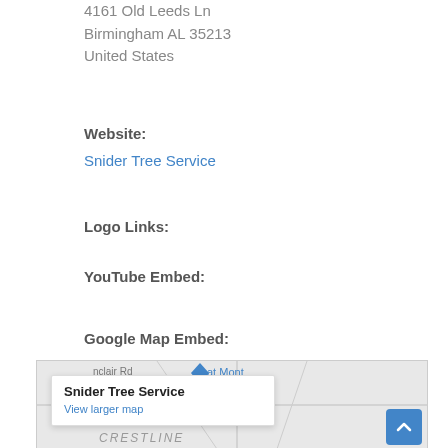4161 Old Leeds Ln
Birmingham AL 35213
United States
Website:
Snider Tree Service
Logo Links:
YouTube Embed:
Google Map Embed:
[Figure (map): Google Map embed showing location of Snider Tree Service near Montclair Rd, Birmingham AL. A tooltip shows 'Snider Tree Service' and 'View larger map'. Street labels include 'at Mont' and 'CRESTLINE'.]